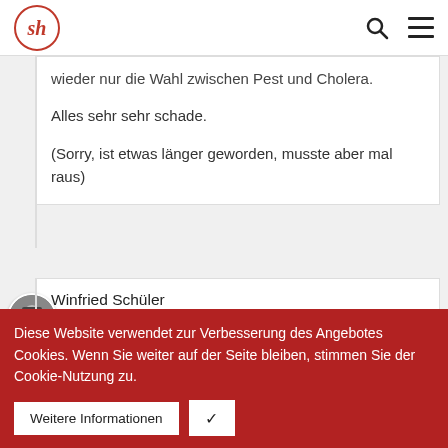sh
wieder nur die Wahl zwischen Pest und Cholera.

Alles sehr sehr schade.

(Sorry, ist etwas länger geworden, musste aber mal raus)
Winfried Schüler
schrieb am 13. Dezember 2015 um 19:18 Uhr:

Hallo Sören,

wenn ich von Billig-Software rede, dann meine ich nicht die Software selbst, sondern deren
Diese Website verwendet zur Verbesserung des Angebotes Cookies. Wenn Sie weiter auf der Seite bleiben, stimmen Sie der Cookie-Nutzung zu.